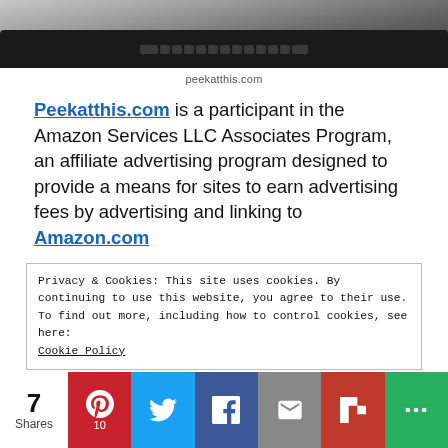[Figure (photo): Partial view of a laptop keyboard, cropped at the top of the page]
peekatthis.com
Peekatthis.com is a participant in the Amazon Services LLC Associates Program, an affiliate advertising program designed to provide a means for sites to earn advertising fees by advertising and linking to Amazon.com
Privacy & Cookies: This site uses cookies. By continuing to use this website, you agree to their use.
To find out more, including how to control cookies, see here:
Cookie Policy
7 Shares | Pinterest 10 | Twitter | Facebook | Email | Flipboard | More